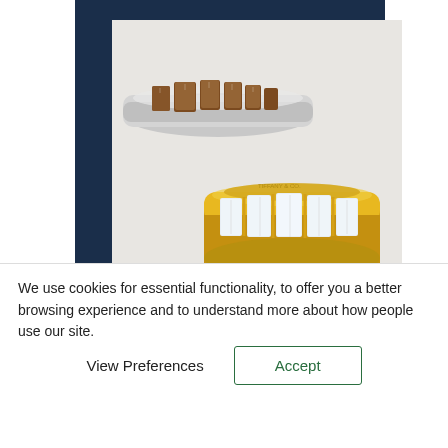[Figure (photo): Two jewelry rings displayed against a navy blue background with a light grey card overlay. Top ring is silver with a row of brown/cognac rectangular stones. Bottom ring is gold with rectangular white diamond-cut stones set in a thick band.]
Diamonds Hidden In A Drawer
We use cookies for essential functionality, to offer you a better browsing experience and to understand more about how people use our site.
View Preferences   Accept